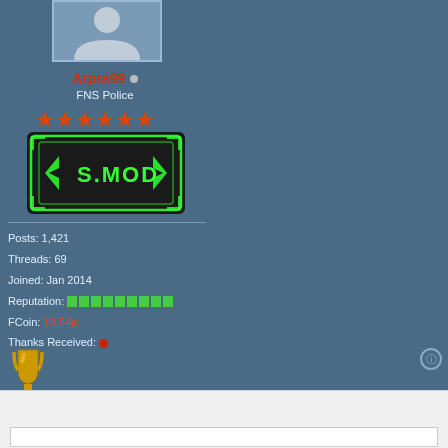[Figure (photo): User profile avatar placeholder silhouette icon in gray box]
Arpra99 [online indicator dot]
FNS Police
[Figure (other): Six orange/red star rating icons]
[Figure (other): S.MOD badge with green neon glow on dark background]
Posts: 1,421
Threads: 69
Joined: Jan 2014
Reputation: [green bar blocks]
FCoin: 13.54jc
Thanks Received: [red dot]
[Figure (other): Gold trophy icon]
09-21-2014, 07:07 AM
#7